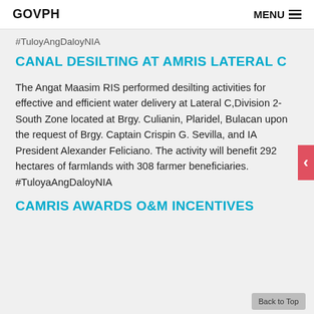GOVPH   MENU
#TuloyAngDaloyNIA
CANAL DESILTING AT AMRIS LATERAL C
The Angat Maasim RIS performed desilting activities for effective and efficient water delivery at Lateral C,Division 2- South Zone located at Brgy. Culianin, Plaridel, Bulacan upon the request of Brgy. Captain Crispin G. Sevilla, and IA President Alexander Feliciano. The activity will benefit 292 hectares of farmlands with 308 farmer beneficiaries. #TuloyaAngDaloyNIA
CAMRIS AWARDS O&M INCENTIVES